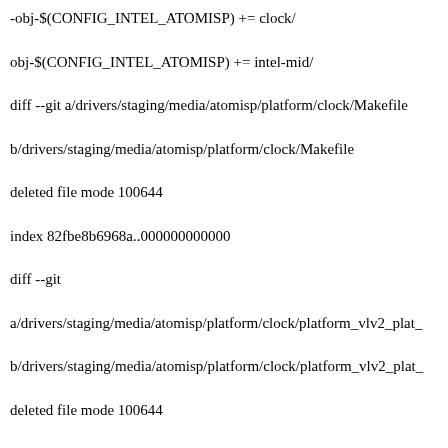-obj-$(CONFIG_INTEL_ATOMISP) += clock/
obj-$(CONFIG_INTEL_ATOMISP) += intel-mid/
diff --git a/drivers/staging/media/atomisp/platform/clock/Makefile
b/drivers/staging/media/atomisp/platform/clock/Makefile
deleted file mode 100644
index 82fbe8b6968a..000000000000
diff --git
a/drivers/staging/media/atomisp/platform/clock/platform_vlv2_plat_
b/drivers/staging/media/atomisp/platform/clock/platform_vlv2_plat_
deleted file mode 100644
index 0aae9b0283bb..000000000000
diff --git
a/drivers/staging/media/atomisp/platform/clock/platform_vlv2_plat_
b/drivers/staging/media/atomisp/platform/clock/platform_vlv2_plat_
deleted file mode 100644
index b730ab0e8223..000000000000
diff --git
a/drivers/staging/media/atomisp/platform/clock/vlv2_plat_clock.c
b/drivers/staging/media/atomisp/platform/clock/vlv2_plat_clock.c
deleted file mode 100644
index f96789a31819..000000000000
diff --git a/drivers/staging/media/atomisp/platform/intel-mid/atomisp_gmin_platform.c
b/drivers/staging/media/atomisp/platform/intel-mid/atomisp_gmin_platform.c